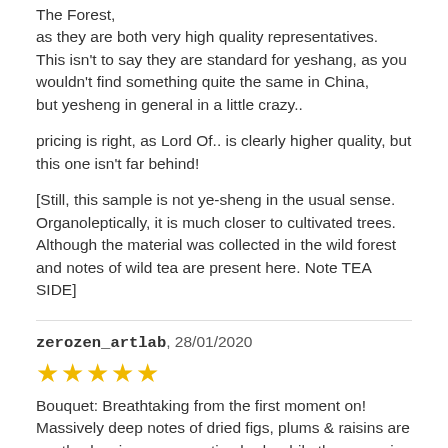The Forest,
as they are both very high quality representatives.
This isn't to say they are standard for yeshang, as you wouldn't find something quite the same in China,
but yesheng in general in a little crazy..
pricing is right, as Lord Of.. is clearly higher quality, but this one isn't far behind!
[Still, this sample is not ye-sheng in the usual sense. Organoleptically, it is much closer to cultivated trees. Although the material was collected in the wild forest and notes of wild tea are present here. Note TEA SIDE]
zerozen_artlab, 28/01/2020
[Figure (other): 5 gold star rating icons]
Bouquet: Breathtaking from the first moment on! Massively deep notes of dried figs, plums & raisins are gently pleasing your scenting buds while the upcoming steaming atmosphere totally conquers you as a whole with a clear win on the Ancient leaf side. This buddy